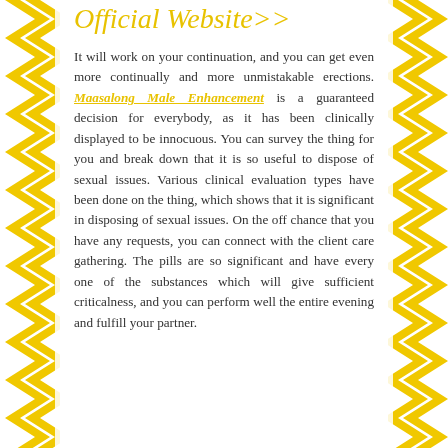Official Website>>
It will work on your continuation, and you can get even more continually and more unmistakable erections. Maasalong Male Enhancement is a guaranteed decision for everybody, as it has been clinically displayed to be innocuous. You can survey the thing for you and break down that it is so useful to dispose of sexual issues. Various clinical evaluation types have been done on the thing, which shows that it is significant in disposing of sexual issues. On the off chance that you have any requests, you can connect with the client care gathering. The pills are so significant and have every one of the substances which will give sufficient criticalness, and you can perform well the entire evening and fulfill your partner.